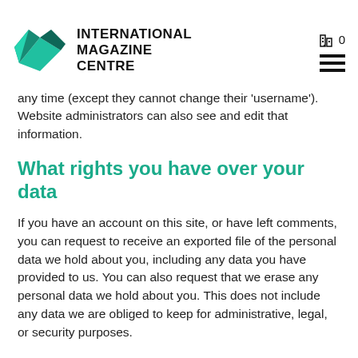International Magazine Centre
any time (except they cannot change their 'username'). Website administrators can also see and edit that information.
What rights you have over your data
If you have an account on this site, or have left comments, you can request to receive an exported file of the personal data we hold about you, including any data you have provided to us. You can also request that we erase any personal data we hold about you. This does not include any data we are obliged to keep for administrative, legal, or security purposes.
Concerns